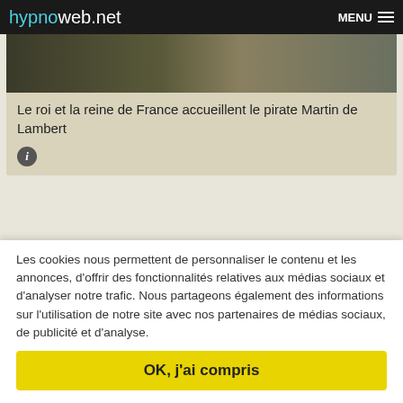hypnoweb.net MENU
[Figure (screenshot): Partial image of a scene with dark and muted tones, partially visible at the top of a card]
Le roi et la reine de France accueillent le pirate Martin de Lambert
DIFFUSIONS
France (inédit)
Jeudi 06.09.2018 à 20:50
Les cookies nous permettent de personnaliser le contenu et les annonces, d'offrir des fonctionnalités relatives aux médias sociaux et d'analyser notre trafic. Nous partageons également des informations sur l'utilisation de notre site avec nos partenaires de médias sociaux, de publicité et d'analyse.
OK, j'ai compris